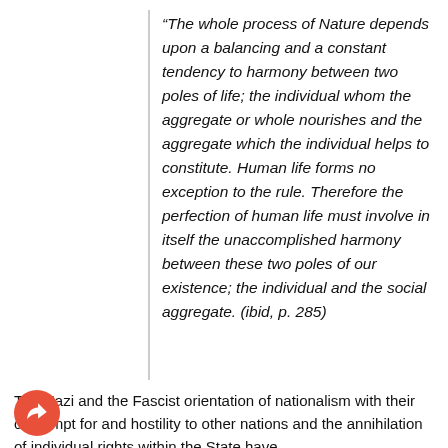“The whole process of Nature depends upon a balancing and a constant tendency to harmony between two poles of life; the individual whom the aggregate or whole nourishes and the aggregate which the individual helps to constitute. Human life forms no exception to the rule. Therefore the perfection of human life must involve in itself the unaccomplished harmony between these two poles of our existence; the individual and the social aggregate. (ibid, p. 285)
The Nazi and the Fascist orientation of nationalism with their contempt for and hostility to other nations and the annihilation of individual rights within the State have